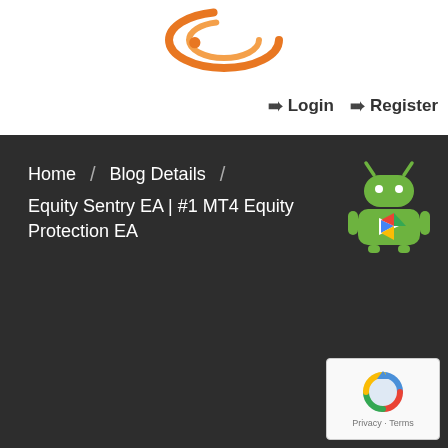[Figure (logo): Orange circular logo with swirling design at top center of page]
Login   Register
Home  /  Blog Details  /
Equity Sentry EA | #1 MT4 Equity Protection EA
[Figure (illustration): Android robot mascot icon (green) with Google Play triangle logo on chest]
[Figure (other): Google reCAPTCHA badge — Privacy · Terms]